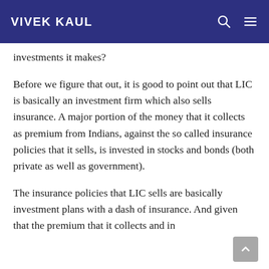VIVEK KAUL
investments it makes?
Before we figure that out, it is good to point out that LIC is basically an investment firm which also sells insurance. A major portion of the money that it collects as premium from Indians, against the so called insurance policies that it sells, is invested in stocks and bonds (both private as well as government).
The insurance policies that LIC sells are basically investment plans with a dash of insurance. And given that the premium that it collects and in